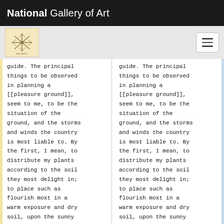National Gallery of Art
[Figure (logo): National Gallery of Art decorative logo / seal on beige background]
guide. The principal things to be observed in planning a [[pleasure ground]], seem to me, to be the situation of the ground, and the storms and winds the country is most liable to. By the first, I mean, to distribute my plants according to the soil they most delight in; to place such as flourish most in a warm exposure and dry soil, upon the sunny
guide. The principal things to be observed in planning a [[pleasure ground]], seem to me, to be the situation of the ground, and the storms and winds the country is most liable to. By the first, I mean, to distribute my plants according to the soil they most delight in; to place such as flourish most in a warm exposure and dry soil, upon the sunny